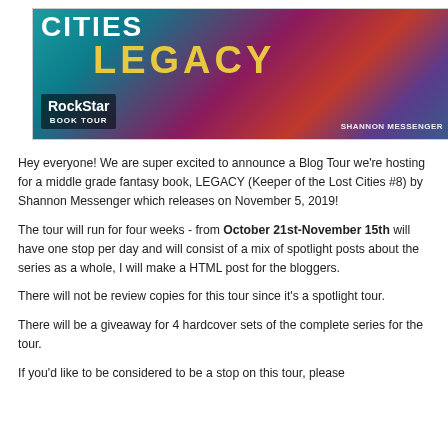[Figure (illustration): Book tour banner for LEGACY (Keeper of the Lost Cities #8) by Shannon Messenger. Shows 'CITIES' and 'LEGACY' text with fantasy art characters, RockStar Book Tour logo bottom left, Shannon Messenger name bottom right.]
Hey everyone! We are super excited to announce a Blog Tour we're hosting for a middle grade fantasy book, LEGACY (Keeper of the Lost Cities #8) by Shannon Messenger which releases on November 5, 2019!
The tour will run for four weeks - from October 21st-November 15th will have one stop per day and will consist of a mix of spotlight posts about the series as a whole, I will make a HTML post for the bloggers.
There will not be review copies for this tour since it's a spotlight tour.
There will be a giveaway for 4 hardcover sets of the complete series for the tour.
If you'd like to be considered to be a stop on this tour, please